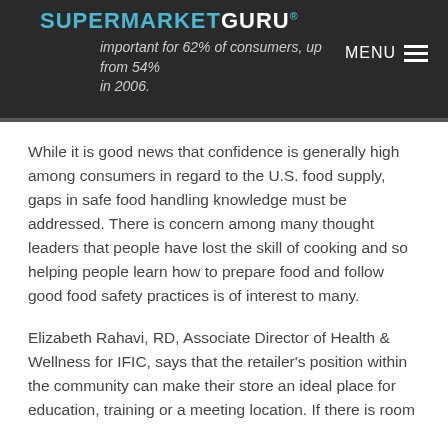SUPERMARKETGURU®
important for 62% of consumers, up from 54% in 2006.
While it is good news that confidence is generally high among consumers in regard to the U.S. food supply, gaps in safe food handling knowledge must be addressed. There is concern among many thought leaders that people have lost the skill of cooking and so helping people learn how to prepare food and follow good food safety practices is of interest to many.
Elizabeth Rahavi, RD, Associate Director of Health & Wellness for IFIC, says that the retailer's position within the community can make their store an ideal place for education, training or a meeting location. If there is room and the resources are in your store...